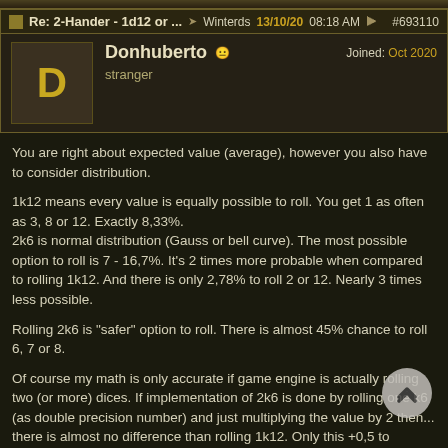Re: 2-Hander - 1d12 or ... → Winterds 13/10/20 08:18 AM #693110
Donhuberto
stranger
Joined: Oct 2020
You are right about expected value (average), however you also have to consider distribution.
1k12 means every value is equally possible to roll. You get 1 as often as 3, 8 or 12. Exactly 8,33%.
2k6 is normal distribution (Gauss or bell curve). The most possible option to roll is 7 - 16,7%. It's 2 times more probable when compared to rolling 1k12. And there is only 2,78% to roll 2 or 12. Nearly 3 times less possible.
Rolling 2k6 is "safer" option to roll. There is almost 45% chance to roll 6, 7 or 8.
Of course my math is only accurate if game engine is actually rolling two (or more) dices. If implementation of 2k6 is done by rolling one k6 (as double precision number) and just multiplying the value by 2 then... there is almost no difference than rolling 1k12. Only this +0,5 to expected value as SecSea mentioned, however you will hardly notice that.